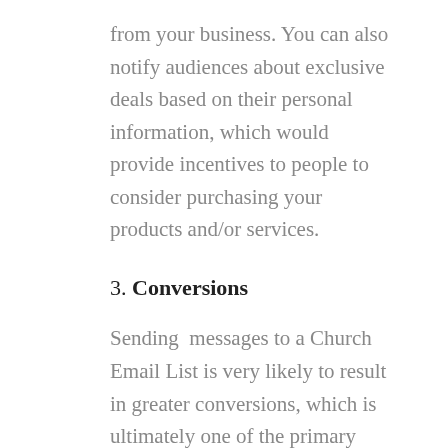from your business. You can also notify audiences about exclusive deals based on their personal information, which would provide incentives to people to consider purchasing your products and/or services.
3. Conversions
Sending  messages to a Church Email List is very likely to result in greater conversions, which is ultimately one of the primary goals of any organization. Of course, the planning and execution of the campaign has to be spot on. However, if the campaign is well-crafted, it can turn a large chunk of those listed in the church email list into contacts or customers. If your products and/or services live up to the sales